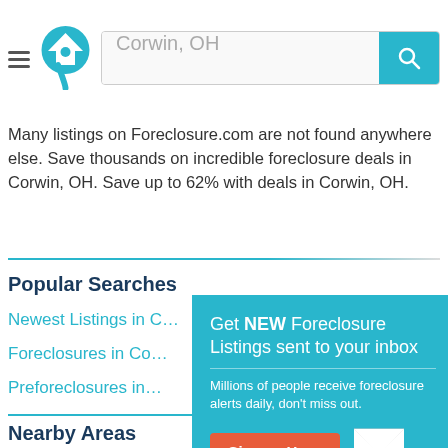[Figure (screenshot): Website header with hamburger menu, Foreclosure.com house logo, search bar with 'Corwin, OH' placeholder text, and teal search button with magnifying glass icon]
Many listings on Foreclosure.com are not found anywhere else. Save thousands on incredible foreclosure deals in Corwin, OH. Save up to 62% with deals in Corwin, OH.
Popular Searches
Newest Listings in C…
Foreclosures in Co…
Preforeclosures in…
Nearby Areas
Bellbrook Foreclosures
Centerville Foreclosures
[Figure (screenshot): Teal popup modal: 'Get NEW Foreclosure Listings sent to your inbox' with subtitle 'Millions of people receive foreclosure alerts daily, don't miss out.' Red 'Signup Here' button, mail envelope icon, and 'No Thanks | Remind Me Later' footer text]